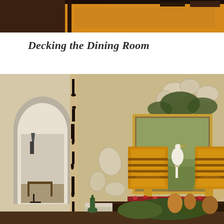[Figure (photo): Top partial photo showing a dimly lit interior room with warm amber/orange tones, appears to be a restaurant or home interior with furniture visible]
Decking the Dining Room
[Figure (photo): Interior dining room decorated for the holidays featuring a dark wood sideboard with two gold striped lamps with amber shades, a framed bird painting, shell wall decorations, greenery with holiday accents, an arched doorway leading to a hallway with a lantern, and a dining table in the foreground with botanical centerpiece]